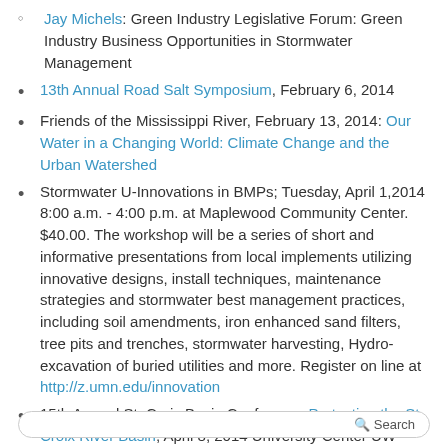Jay Michels: Green Industry Legislative Forum: Green Industry Business Opportunities in Stormwater Management
13th Annual Road Salt Symposium, February 6, 2014
Friends of the Mississippi River, February 13, 2014: Our Water in a Changing World: Climate Change and the Urban Watershed
Stormwater U-Innovations in BMPs; Tuesday, April 1,2014 8:00 a.m. - 4:00 p.m. at Maplewood Community Center. $40.00. The workshop will be a series of short and informative presentations from local implements utilizing innovative designs, install techniques, maintenance strategies and stormwater best management practices, including soil amendments, iron enhanced sand filters, tree pits and trenches, stormwater harvesting, Hydro-excavation of buried utilities and more. Register on line at http://z.umn.edu/innovation
15th Annual St. Croix Basin Conference Protecting the St Croix River Basin; April 8, 2014 University Center UW River Falls, Wisconsin